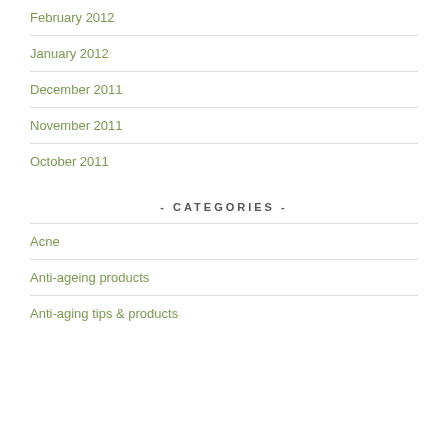February 2012
January 2012
December 2011
November 2011
October 2011
- CATEGORIES -
Acne
Anti-ageing products
Anti-aging tips & products